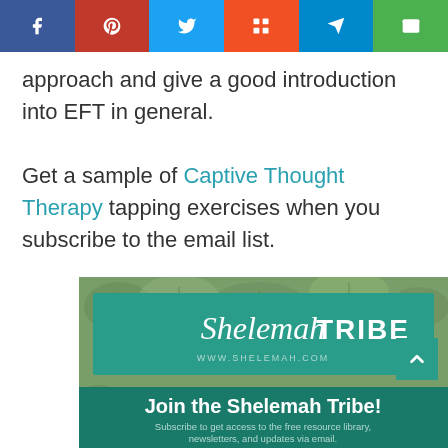Social share bar with Facebook, Pinterest, Twitter, Mix, Telegram, Email buttons
approach and give a good introduction into EFT in general.
Get a sample of Captive Thought Therapy tapping exercises when you subscribe to the email list.
[Figure (infographic): Shelemah Tribe newsletter signup banner with succulent plant background, teal banner showing 'Shelemah TRIBE' and 'WWW.SHELEMAH.COM', and bottom section 'Join the Shelemah Tribe! Subscribe to get access to the free resource library, newsletters, and updates via email.']